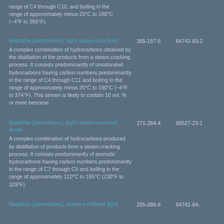range of C4 through C10, and boiling in the range of approximately minus 20°C to 180°C (−4°F to 356°F).
Naphtha (petroleum), light steam-cracked | 265-187-5 | 64742-83-2 | A complex combination of hydrocarbons obtained by the distillation of the products from a steam cracking process. It consists predominantly of unsaturated hydrocarbons having carbon numbers predominantly in the range of C4 through C11 and boiling in the range of approximately minus 20°C to 190°C (−4°F to 374°F). This stream is likely to contain 10 vol. % or more benzene.
Naphtha (petroleum), light steam-cracked arom. | 271-264-4 | 68527-23-1 | A complex combination of hydrocarbons produced by distillation of products from a steam-cracking process. It consists predominantly of aromatic hydrocarbons having carbon numbers predominantly in the range of C7 through C9 and boiling in the range of approximately 110°C to 165°C (230°F to 329°F).
Naphtha (petroleum), solvent-refined light | 265-086-6 | 64741-84-